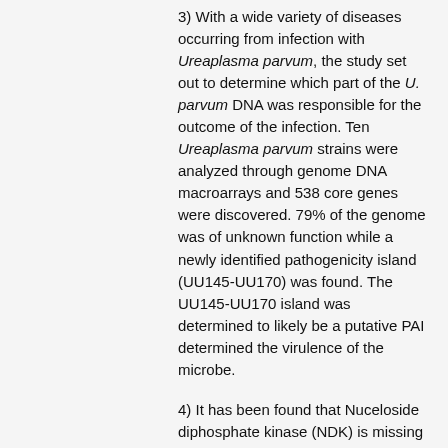3) With a wide variety of diseases occurring from infection with Ureaplasma parvum, the study set out to determine which part of the U. parvum DNA was responsible for the outcome of the infection. Ten Ureaplasma parvum strains were analyzed through genome DNA macroarrays and 538 core genes were discovered. 79% of the genome was of unknown function while a newly identified pathogenicity island (UU145-UU170) was found. The UU145-UU170 island was determined to likely be a putative PAI determined the virulence of the microbe.
4) It has been found that Nuceloside diphosphate kinase (NDK) is missing in Mollicutues such as Ureaplasma parvum. The enzyme is involved in housekeeping functions as well as the synthesis of NTP's and dNTPs. To determine how they make NTPs and dNTPs the nucleoside monophosphate kinase in Ureaplasma was studied. Using tritium labeled dNTP's the catalytic rate for NMPK could be determined and calculated. "AdK, CMPK, and HMPK have been related to their connectio...